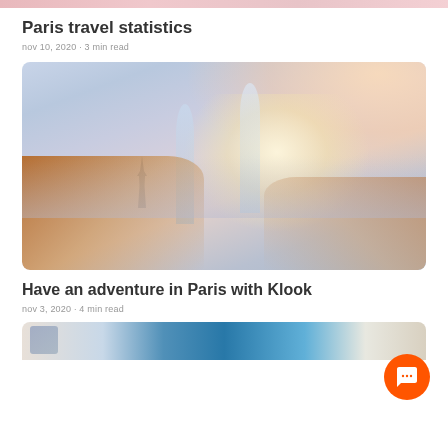[Figure (photo): Partial top strip of a pink/rosy colored travel photo]
Paris travel statistics
nov 10, 2020 · 3 min read
[Figure (photo): Two hands clinking champagne glasses with the Eiffel Tower and Paris skyline in the blurred background at dusk]
Have an adventure in Paris with Klook
nov 3, 2020 · 4 min read
[Figure (photo): Partial bottom image showing travel photos and a blue map on a table]